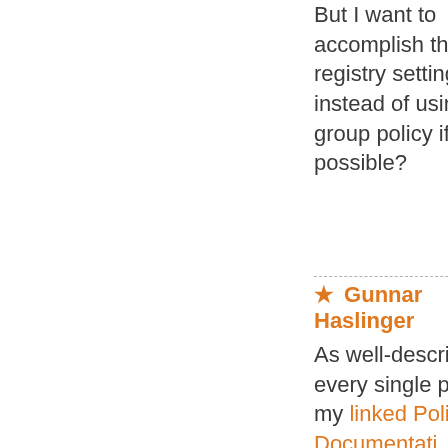But I want to accomplish that via registry settings instead of using group policy if that is possible?
★ Gunnar Haslinger
As well-described for every single policy in my linked Policy-Documentati